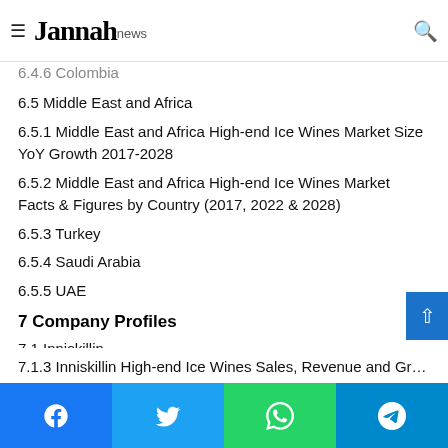Jannah news
6.4.6 Colombia
6.5 Middle East and Africa
6.5.1 Middle East and Africa High-end Ice Wines Market Size YoY Growth 2017-2028
6.5.2 Middle East and Africa High-end Ice Wines Market Facts & Figures by Country (2017, 2022 & 2028)
6.5.3 Turkey
6.5.4 Saudi Arabia
6.5.5 UAE
7 Company Profiles
7.1 Inniskillin
7.1.1 Inniskillin Corporation Information
7.1.2 Inniskillin Description and Business Overview
7.1.3 Inniskillin High-end Ice Wines Sales, Revenue and Gross...